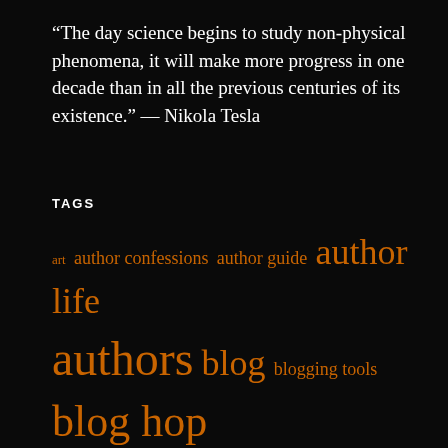“The day science begins to study non-physical phenomena, it will make more progress in one decade than in all the previous centuries of its existence.” — Nikola Tesla
TAGS
art author confessions author guide author life authors blog blogging tools blog hop book book production books Burning Down creative writing dogs editing editor edits fantasy for writers guides history hop k. williams literary literature novel novels open Open Book